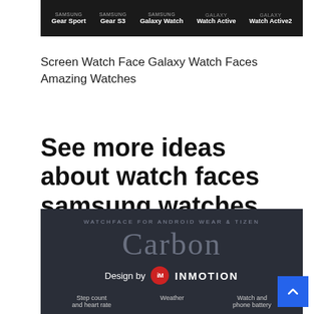[Figure (screenshot): Dark banner showing Samsung watch compatibility: Gear Sport, Gear S3, Galaxy Watch, Galaxy Watch Active, Galaxy Watch Active2]
Screen Watch Face Galaxy Watch Faces Amazing Watches
See more ideas about watch faces samsung watches watches for men.
[Figure (screenshot): Dark promotional image for Carbon Watchface for Android Wear & Tizen, Design by iM INMOTION, showing Step count and heart rate, Weather, Watch and phone battery sections]